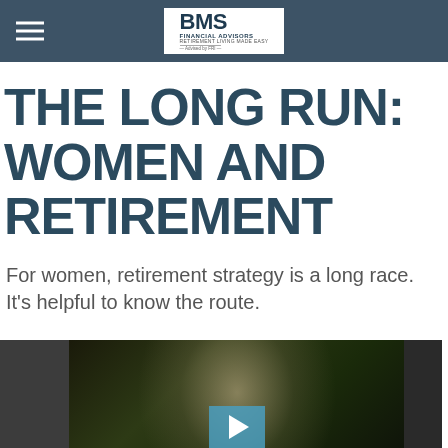BMS Financial Advisors
THE LONG RUN: WOMEN AND RETIREMENT
For women, retirement strategy is a long race. It's helpful to know the route.
[Figure (photo): Video thumbnail showing a woman looking upward outdoors among trees, with a play button overlay indicating an embedded video player.]